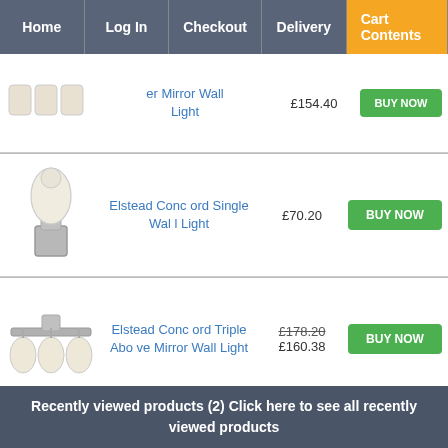Home | Log In | Checkout | Delivery | Cart Contents
[Figure (photo): Partial product row at top - mirror wall light, partially visible]
Mirror Wall Light
£154.40
[Figure (photo): Elstead Concord Single Wall Light - chrome and frosted glass fixture]
Elstead Concord Single Wall Light
£70.20
[Figure (photo): Elstead Concord Triple Above Mirror Wall Light - triple chrome bar with three frosted glass shades]
Elstead Concord Triple Above Mirror Wall Light
£178.20 £160.38
[Figure (photo): Elstead Concord Twin Over Mirror Wall Light - partially visible]
Elstead Concord Twin Over Mirror Wall Lig
£121.50 £109.35
Recently viewed products (2) Click here to see all recently viewed products